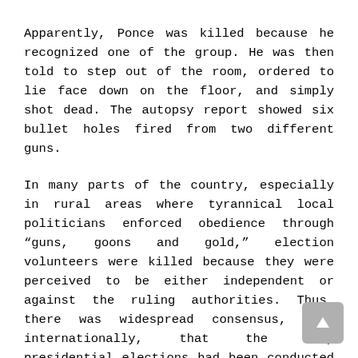Apparently, Ponce was killed because he recognized one of the group. He was then told to step out of the room, ordered to lie face down on the floor, and simply shot dead. The autopsy report showed six bullet holes fired from two different guns.
In many parts of the country, especially in rural areas where tyrannical local politicians enforced obedience through “guns, goons and gold,” election volunteers were killed because they were perceived to be either independent or against the ruling authorities. Thus, there was widespread consensus, even internationally, that the snap presidential elections had been conducted fraudulently.
Two days after the February 7 elections, computer programmers of the Comelec walked out of the vote